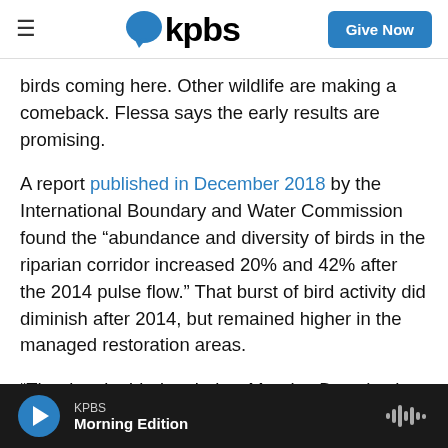kpbs — Give Now
birds coming here. Other wildlife are making a comeback. Flessa says the early results are promising.
A report published in December 2018 by the International Boundary and Water Commission found the “abundance and diversity of birds in the riparian corridor increased 20% and 42% after the 2014 pulse flow.” That burst of bird activity did diminish after 2014, but remained higher in the managed restoration areas.
“The river is dried up below Morelos Dam (at the
KPBS Morning Edition